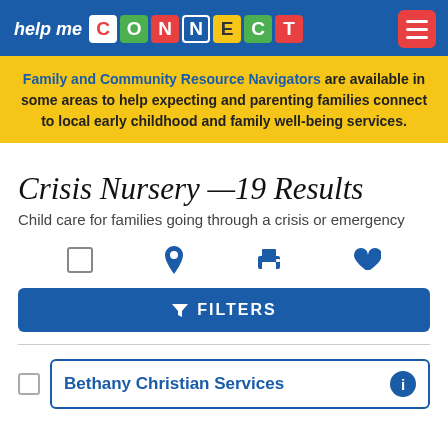help me CONNECT
Family and Community Resource Navigators are available in some areas to help expecting and parenting families connect to local early childhood and family well-being services.
Crisis Nursery —19 Results
Child care for families going through a crisis or emergency
FILTERS
Bethany Christian Services